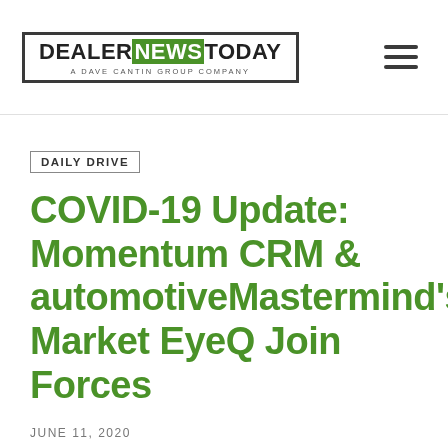DEALER NEWS TODAY — A DAVE CANTIN GROUP COMPANY
DAILY DRIVE
COVID-19 Update: Momentum CRM & automotiveMastermind's Market EyeQ Join Forces
JUNE 11, 2020